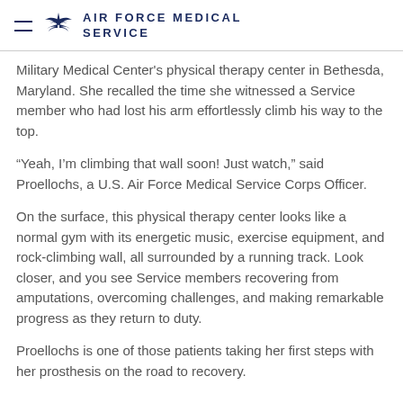AIR FORCE MEDICAL SERVICE
Military Medical Center's physical therapy center in Bethesda, Maryland. She recalled the time she witnessed a Service member who had lost his arm effortlessly climb his way to the top.
“Yeah, I’m climbing that wall soon! Just watch,” said Proellochs, a U.S. Air Force Medical Service Corps Officer.
On the surface, this physical therapy center looks like a normal gym with its energetic music, exercise equipment, and rock-climbing wall, all surrounded by a running track. Look closer, and you see Service members recovering from amputations, overcoming challenges, and making remarkable progress as they return to duty.
Proellochs is one of those patients taking her first steps with her prosthesis on the road to recovery.